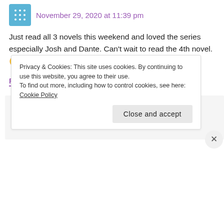November 29, 2020 at 11:39 pm
Just read all 3 novels this weekend and loved the series especially Josh and Dante. Can't wait to read the 4th novel. 😉
REPLY
sofiagrey1 says:
December 16, 2020 at 1:59 am
Privacy & Cookies: This site uses cookies. By continuing to use this website, you agree to their use. To find out more, including how to control cookies, see here: Cookie Policy
Close and accept